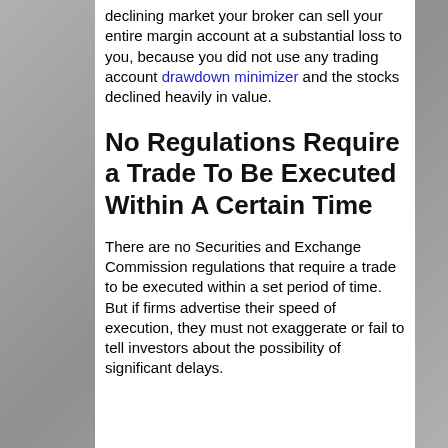declining market your broker can sell your entire margin account at a substantial loss to you, because you did not use any trading account drawdown minimizer and the stocks declined heavily in value.
No Regulations Require a Trade To Be Executed Within A Certain Time
There are no Securities and Exchange Commission regulations that require a trade to be executed within a set period of time. But if firms advertise their speed of execution, they must not exaggerate or fail to tell investors about the possibility of significant delays.